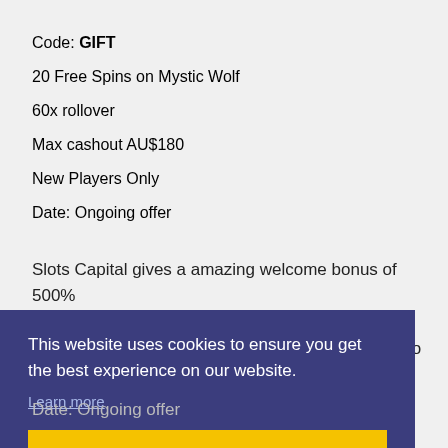Code: GIFT
20 Free Spins on Mystic Wolf
60x rollover
Max cashout AU$180
New Players Only
Date: Ongoing offer
Slots Capital gives a amazing welcome bonus of 500% up to $2500, just sign up a account and enter the promo code AUSSIE500 to claim your 500% casino
This website uses cookies to ensure you get the best experience on our website.
Learn more
Got it!
Date: Ongoing offer